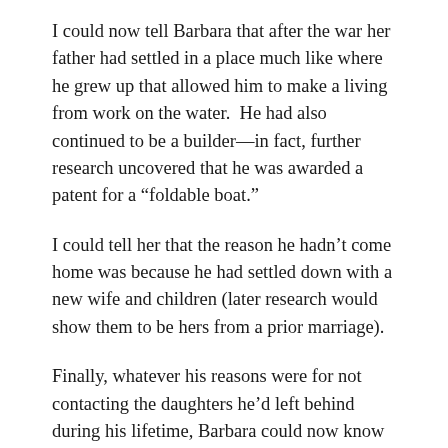I could now tell Barbara that after the war her father had settled in a place much like where he grew up that allowed him to make a living from work on the water. He had also continued to be a builder—in fact, further research uncovered that he was awarded a patent for a “foldable boat.”
I could tell her that the reason he hadn’t come home was because he had settled down with a new wife and children (later research would show them to be hers from a prior marriage).
Finally, whatever his reasons were for not contacting the daughters he’d left behind during his lifetime, Barbara could now know that his silence during the previous 24 years had not been a lost opportunity to reconnect, but rather was the byproduct of his death